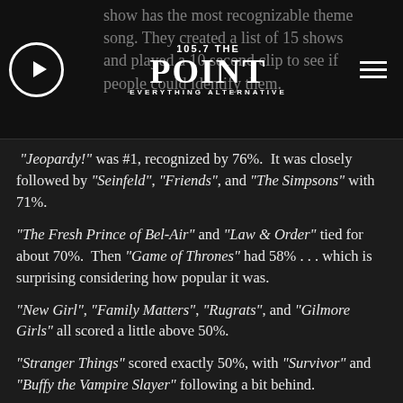105.7 THE POINT — EVERYTHING ALTERNATIVE
show has the most recognizable theme song. They created a list of 15 shows and played a 10 second clip to see if people could identify them.
"Jeopardy!" was #1, recognized by 76%. It was closely followed by "Seinfeld", "Friends", and "The Simpsons" with 71%.
"The Fresh Prince of Bel-Air" and "Law & Order" tied for about 70%. Then "Game of Thrones" had 58% . . . which is surprising considering how popular it was.
"New Girl", "Family Matters", "Rugrats", and "Gilmore Girls" all scored a little above 50%.
"Stranger Things" scored exactly 50%, with "Survivor" and "Buffy the Vampire Slayer" following a bit behind.
The least recognizable in the survey was "Bones" with only 22% of people getting it right.